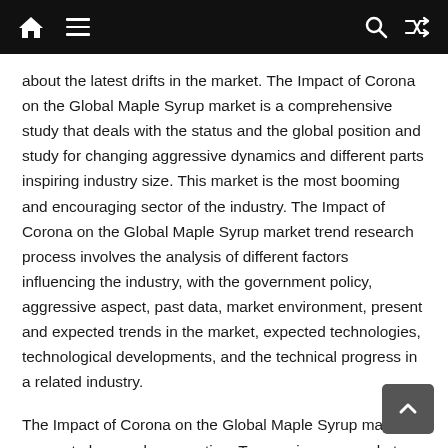Navigation bar with home, menu, search, and shuffle icons
about the latest drifts in the market. The Impact of Corona on the Global Maple Syrup market is a comprehensive study that deals with the status and the global position and study for changing aggressive dynamics and different parts inspiring industry size. This market is the most booming and encouraging sector of the industry. The Impact of Corona on the Global Maple Syrup market trend research process involves the analysis of different factors influencing the industry, with the government policy, aggressive aspect, past data, market environment, present and expected trends in the market, expected technologies, technological developments, and the technical progress in a related industry.
The Impact of Corona on the Global Maple Syrup market seems to be evenly competing. To examine any market with integrity the market is divided into segments, such as its product types, applications, technology, etc. Segmenting the market into humbler